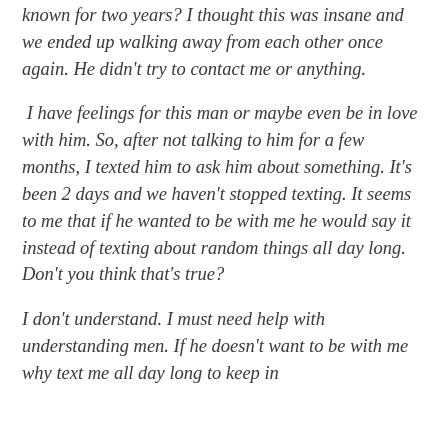known for two years? I thought this was insane and we ended up walking away from each other once again. He didn't try to contact me or anything.
I have feelings for this man or maybe even be in love with him. So, after not talking to him for a few months, I texted him to ask him about something. It's been 2 days and we haven't stopped texting. It seems to me that if he wanted to be with me he would say it instead of texting about random things all day long. Don't you think that's true?
I don't understand. I must need help with understanding men. If he doesn't want to be with me why text me all day long to keep in